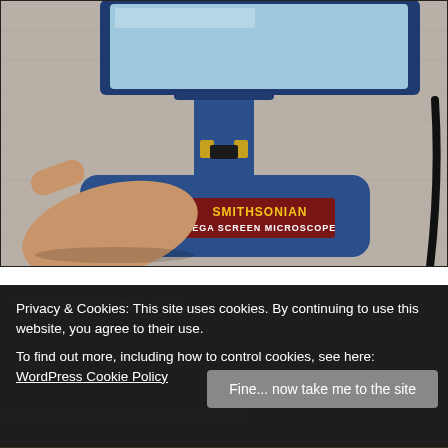[Figure (photo): Photograph of a blue Smithsonian Mega Screen Microscope being held by a hand, placed on a carpet. The microscope has a rectangular blue base, a central stem, and a screen at the top. A red label on the base reads 'SMITHSONIAN MEGA SCREEN MICROSCOPE' in yellow and white text.]
Privacy & Cookies: This site uses cookies. By continuing to use this website, you agree to their use.
To find out more, including how to control cookies, see here: WordPress Cookie Policy
Fine... now take me to the site
[Figure (photo): Partial view of a second photograph partially obscured by the cookie consent banner. Shows text 'Found out later it needs a port.' and what appears to be a tabletop or surface.]